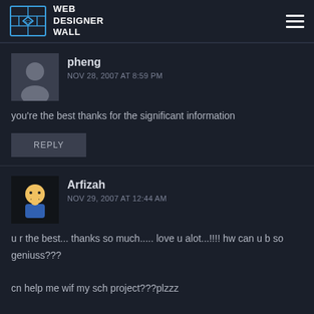WEB DESIGNER WALL
pheng
NOV 28, 2007 AT 8:59 PM
you're the best thanks for the significant information
REPLY
Arfizah
NOV 29, 2007 AT 12:44 AM
u r the best... thanks so much..... love u alot...!!!! hw can u b so geniuss???
cn help me wif my sch project???plzzz